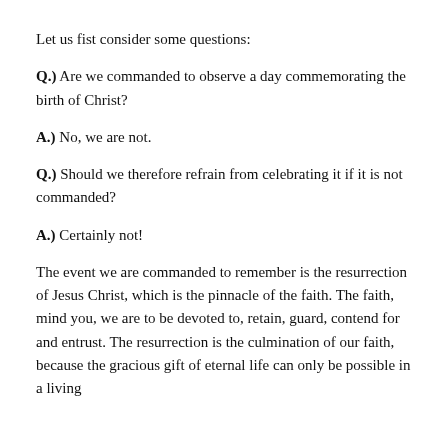Let us fist consider some questions:
Q.) Are we commanded to observe a day commemorating the birth of Christ?
A.) No, we are not.
Q.) Should we therefore refrain from celebrating it if it is not commanded?
A.) Certainly not!
The event we are commanded to remember is the resurrection of Jesus Christ, which is the pinnacle of the faith. The faith, mind you, we are to be devoted to, retain, guard, contend for and entrust. The resurrection is the culmination of our faith, because the gracious gift of eternal life can only be possible in a living